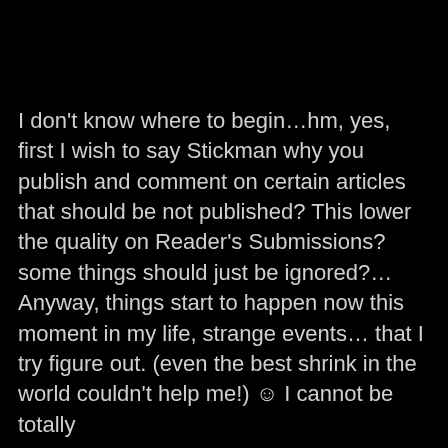I don't know where to begin…hm, yes, first I wish to say Stickman why you publish and comment on certain articles that should be not published? This lower the quality on Reader's Submissions? some things should just be ignored?… Anyway, things start to happen now this moment in my life, strange events… that I try figure out. (even the best shrink in the world couldn't help me!) ☺ I cannot be totally